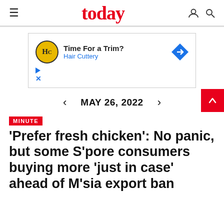today
[Figure (infographic): Advertisement banner for Hair Cuttery: 'Time For a Trim? Hair Cuttery' with HC logo and blue diamond arrow icon]
MAY 26, 2022
MINUTE
'Prefer fresh chicken': No panic, but some S'pore consumers buying more 'just in case' ahead of M'sia export ban